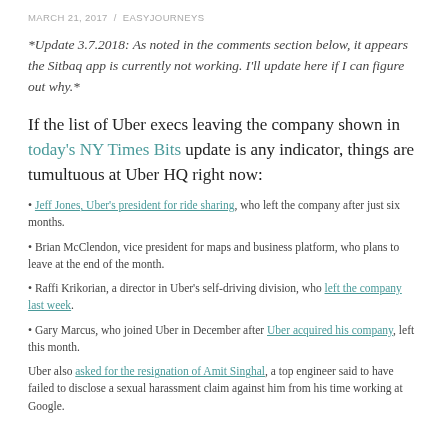MARCH 21, 2017 / EASYJOURNEYS
*Update 3.7.2018: As noted in the comments section below, it appears the Sitbaq app is currently not working. I'll update here if I can figure out why.*
If the list of Uber execs leaving the company shown in today's NY Times Bits update is any indicator, things are tumultuous at Uber HQ right now:
Jeff Jones, Uber's president for ride sharing, who left the company after just six months.
Brian McClendon, vice president for maps and business platform, who plans to leave at the end of the month.
Raffi Krikorian, a director in Uber's self-driving division, who left the company last week.
Gary Marcus, who joined Uber in December after Uber acquired his company, left this month.
Uber also asked for the resignation of Amit Singhal, a top engineer said to have failed to disclose a sexual harassment claim against him from his time working at Google.